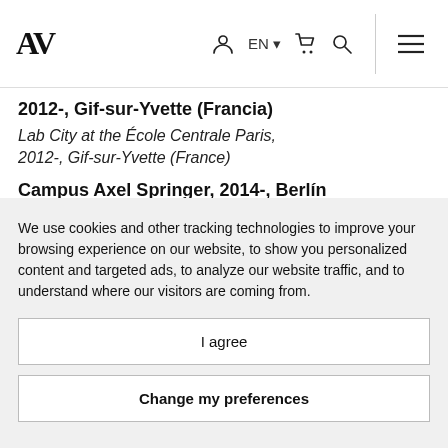AV  EN  [cart] [search] [menu]
2012-, Gif-sur-Yvette (Francia)
Lab City at the École Centrale Paris, 2012-, Gif-sur-Yvette (France)
Campus Axel Springer, 2014-, Berlín (Alemania)
Axel Springer Campus, 2014-, Berlin (Germany)
11th Street Bridge Park, 2014-,
We use cookies and other tracking technologies to improve your browsing experience on our website, to show you personalized content and targeted ads, to analyze our website traffic, and to understand where our visitors are coming from.
I agree
Change my preferences